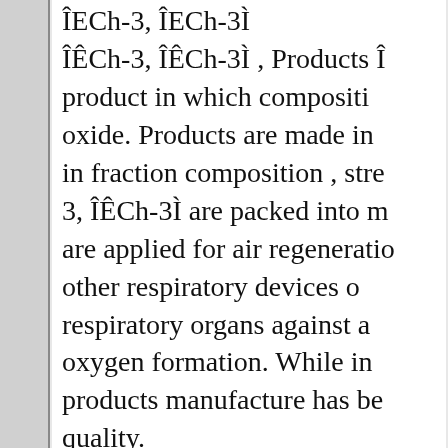ÎECh-3, ÎECh-3Ì ÎÊCh-3, ÎÊCh-3Ì , Products Î product in which compositi oxide. Products are made in in fraction composition , stre 3, ÎÊCh-3Ì are packed into m are applied for air regeneratio other respiratory devices o respiratory organs against a oxygen formation. While in products manufacture has be quality.